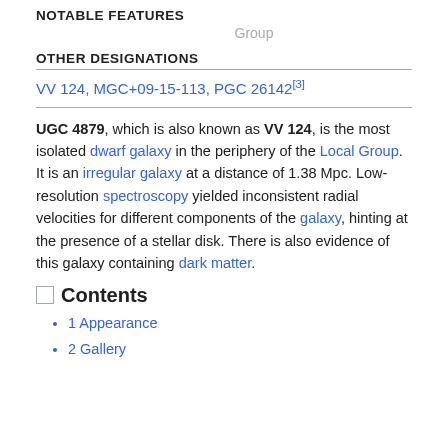NOTABLE FEATURES
Group
OTHER DESIGNATIONS
VV 124, MGC+09-15-113, PGC 26142[3]
UGC 4879, which is also known as VV 124, is the most isolated dwarf galaxy in the periphery of the Local Group. It is an irregular galaxy at a distance of 1.38 Mpc. Low-resolution spectroscopy yielded inconsistent radial velocities for different components of the galaxy, hinting at the presence of a stellar disk. There is also evidence of this galaxy containing dark matter.
Contents
1 Appearance
2 Gallery